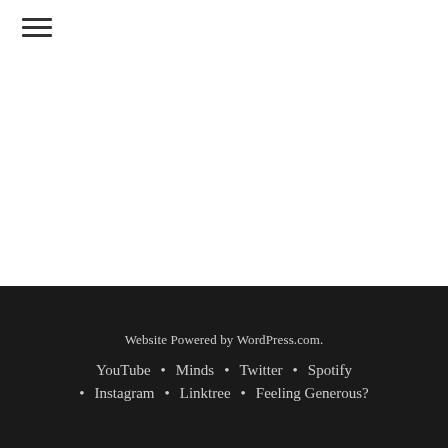☰
Website Powered by WordPress.com · YouTube · Minds · Twitter · Spotify · Instagram · Linktree · Feeling Generous?